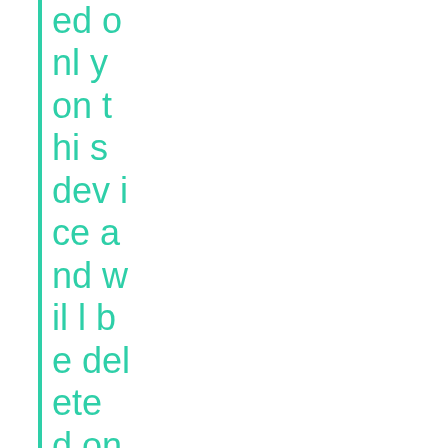ed only on this device and will be deleted on one month aft